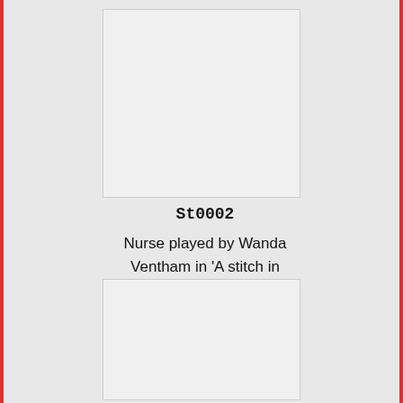[Figure (photo): Top image placeholder box, light grey with border]
St0002
Nurse played by Wanda Ventham in 'A stitch in time', UK 1963.
[Figure (photo): Bottom image placeholder box, light grey with border]